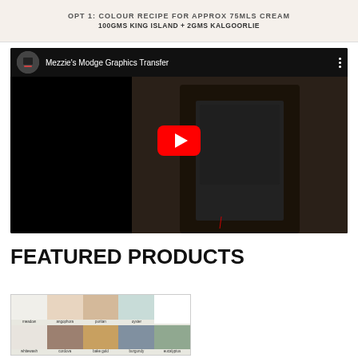[Figure (infographic): Banner with text: OPT 1: COLOUR RECIPE FOR APPROX 75MLS CREAM / 100GMS KING ISLAND + 2GMS KALGOORLIE]
[Figure (screenshot): YouTube video embed titled 'Mezzie's Modge Graphics Transfer' showing a person in a dark apron. YouTube play button overlay visible.]
FEATURED PRODUCTS
[Figure (photo): Product swatch card showing paint colors: meadow, angophora, puritan, oyster, whitewash, cordova, bake gold, burgundy, eucalyptus]